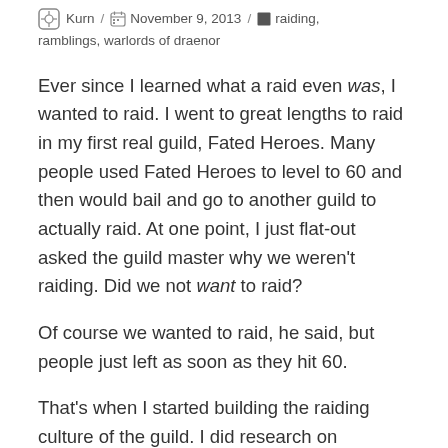Kurn / November 9, 2013 / raiding, ramblings, warlords of draenor
Ever since I learned what a raid even was, I wanted to raid. I went to great lengths to raid in my first real guild, Fated Heroes. Many people used Fated Heroes to level to 60 and then would bail and go to another guild to actually raid. At one point, I just flat-out asked the guild master why we weren't raiding. Did we not want to raid?
Of course we wanted to raid, he said, but people just left as soon as they hit 60.
That's when I started building the raiding culture of the guild. I did research on attunements, made that information available, helped people on quests leading to attunements and the like. By golly, I